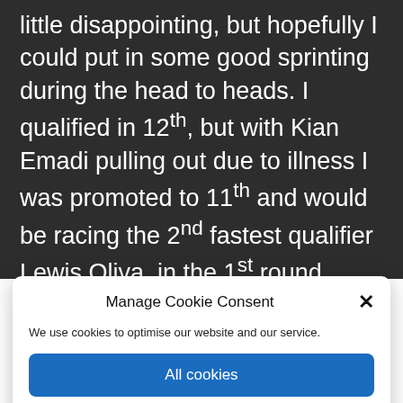little disappointing, but hopefully I could put in some good sprinting during the head to heads. I qualified in 12th, but with Kian Emadi pulling out due to illness I was promoted to 11th and would be racing the 2nd fastest qualifier Lewis Oliva, in the 1st round knockout. I had a plan to use my jump and fact I was on a smaller gear to
Manage Cookie Consent
We use cookies to optimise our website and our service.
All cookies
Deny
View preferences
Cookie policy   Cookie policy